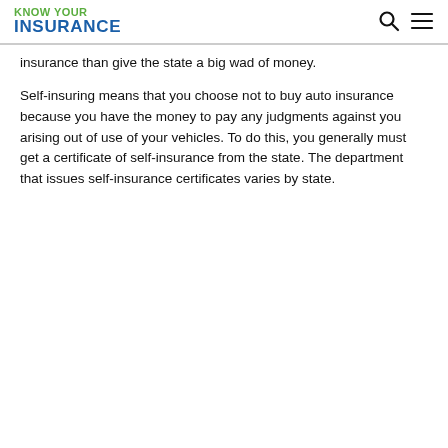KNOW YOUR INSURANCE
insurance than give the state a big wad of money.
Self-insuring means that you choose not to buy auto insurance because you have the money to pay any judgments against you arising out of use of your vehicles. To do this, you generally must get a certificate of self-insurance from the state. The department that issues self-insurance certificates varies by state.